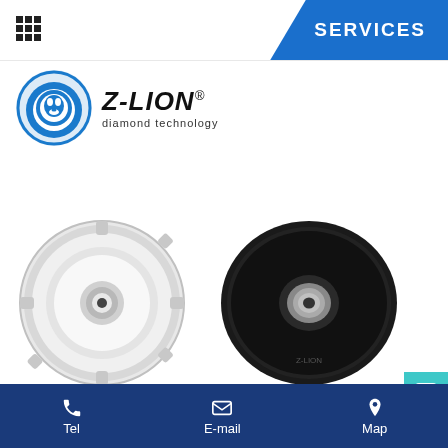SERVICES
[Figure (logo): Z-LION diamond technology logo with blue lion head icon and stylized text]
[Figure (photo): Two circular grinding/polishing backing pads - one white/aluminum and one black rubber, both with central mounting holes]
Tel  E-mail  Map